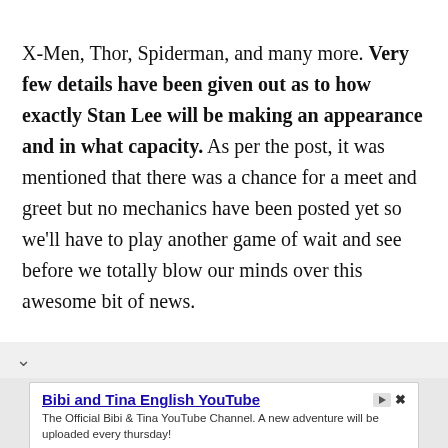X-Men, Thor, Spiderman, and many more. Very few details have been given out as to how exactly Stan Lee will be making an appearance and in what capacity. As per the post, it was mentioned that there was a chance for a meet and greet but no mechanics have been posted yet so we'll have to play another game of wait and see before we totally blow our minds over this awesome bit of news.
[Figure (screenshot): Advertisement for 'Bibi and Tina English YouTube' channel. Shows the channel title as a link, description 'The Official Bibi & Tina YouTube Channel. A new adventure will be uploaded every thursday!', source label 'Bibi and Tina', and a blue Subscribe button.]